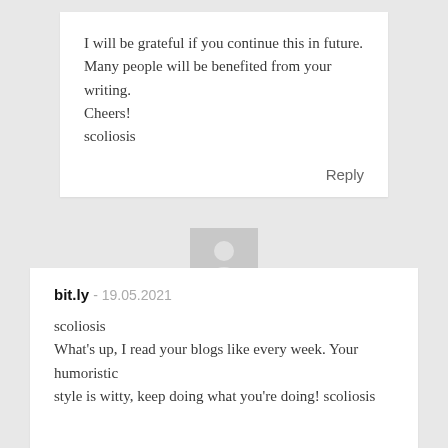I will be grateful if you continue this in future. Many people will be benefited from your writing. Cheers! scoliosis
Reply
[Figure (illustration): Generic user avatar silhouette icon, gray background]
bit.ly - 19.05.2021
scoliosis What's up, I read your blogs like every week. Your humoristic style is witty, keep doing what you're doing! scoliosis